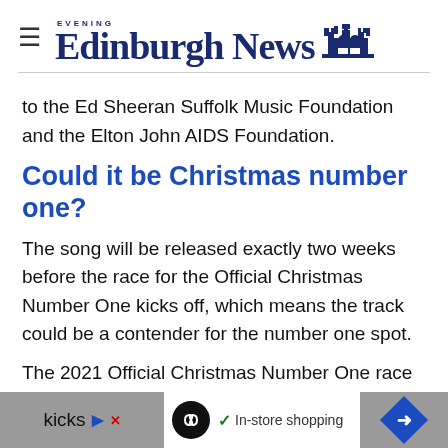Edinburgh Evening News
to the Ed Sheeran Suffolk Music Foundation and the Elton John AIDS Foundation.
Could it be Christmas number one?
The song will be released exactly two weeks before the race for the Official Christmas Number One kicks off, which means the track could be a contender for the number one spot.
The 2021 Official Christmas Number One race kicks
In-store shopping